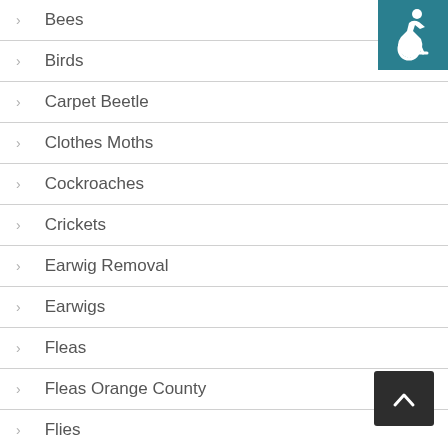Bees
Birds
Carpet Beetle
Clothes Moths
Cockroaches
Crickets
Earwig Removal
Earwigs
Fleas
Fleas Orange County
Flies
Fountain Valley Pest Control
Fumigation
[Figure (logo): Accessibility icon - wheelchair symbol on teal background]
[Figure (other): Back to top button - dark square with upward chevron arrow]